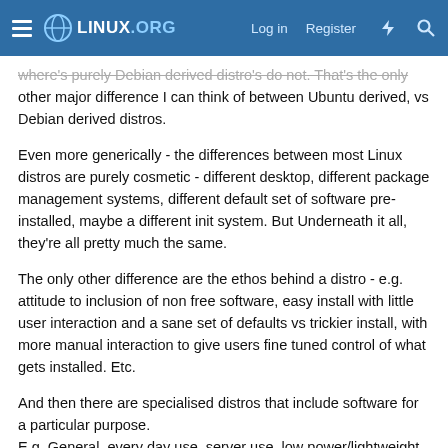LINUX.ORG — Log in | Register
where's purely Debian derived distro's do not. That's the only other major difference I can think of between Ubuntu derived, vs Debian derived distros.
Even more generically - the differences between most Linux distros are purely cosmetic - different desktop, different package management systems, different default set of software pre-installed, maybe a different init system. But Underneath it all, they're all pretty much the same.
The only other difference are the ethos behind a distro - e.g. attitude to inclusion of non free software, easy install with little user interaction and a sane set of defaults vs trickier install, with more manual interaction to give users fine tuned control of what gets installed. Etc.
And then there are specialised distros that include software for a particular purpose.
E.g. General, every day use, server use, low power/lightweight resource usage, penetration testing, forensics, scientific…